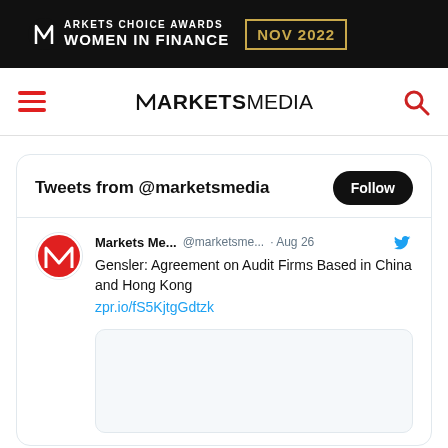[Figure (logo): Markets Choice Awards Women in Finance NOV 2022 banner on black background with gold border]
MARKETS MEDIA — navigation header with hamburger menu and search icon
Tweets from @marketsmedia
Follow
Markets Me... @marketsme... · Aug 26
Gensler: Agreement on Audit Firms Based in China and Hong Kong
zpr.io/fS5KjtgGdtzk